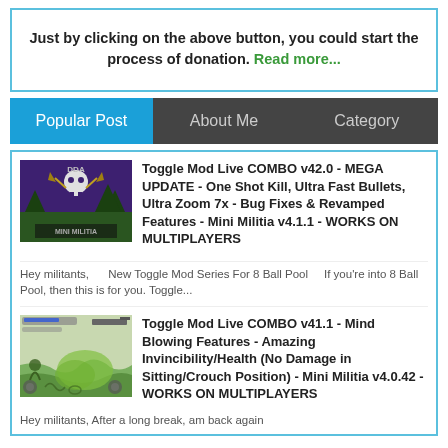Just by clicking on the above button, you could start the process of donation. Read more...
Popular Post | About Me | Category
Toggle Mod Live COMBO v42.0 - MEGA UPDATE - One Shot Kill, Ultra Fast Bullets, Ultra Zoom 7x - Bug Fixes & Revamped Features - Mini Militia v4.1.1 - WORKS ON MULTIPLAYERS
Hey militants,      New Toggle Mod Series For 8 Ball Pool     If you're into 8 Ball Pool, then this is for you. Toggle...
Toggle Mod Live COMBO v41.1 - Mind Blowing Features - Amazing Invincibility/Health (No Damage in Sitting/Crouch Position) - Mini Militia v4.0.42 - WORKS ON MULTIPLAYERS
Hey militants, After a long break, am back again